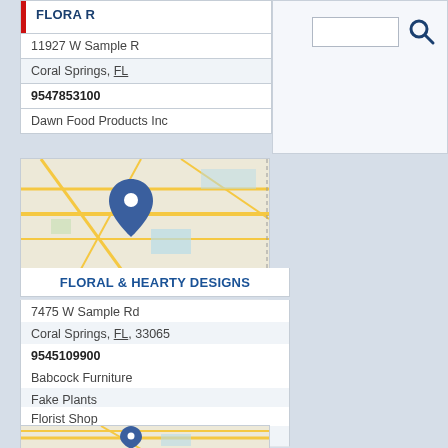[Figure (screenshot): Top partial business listing card showing FLORA R... with address 11927 W Sample R..., Coral Springs, FL, phone 9547853100, and business Dawn Food Products Inc. A red vertical bar appears left of the title. A search input box with magnifying glass icon is visible to the right.]
[Figure (map): Map showing location pin drop for Floral & Hearty Designs on a street map with roads and geographic features]
FLORAL & HEARTY DESIGNS
7475 W Sample Rd
Coral Springs, FL 33065
9545109900
Babcock Furniture
Fake Plants
Florist Shop
Florists
Flower Shop
[Figure (map): Partial map at bottom of page showing location pin drop on street map, beginning of another business listing]